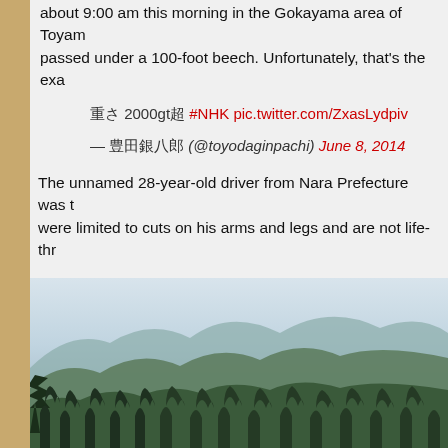about 9:00 am this morning in the Gokayama area of Toyama... passed under a 100-foot beech. Unfortunately, that's the ex...
重さ 2000gt超 #NHK pic.twitter.com/ZxasLydpiv — 豊田銀八郎 (@toyodaginpachi) June 8, 2014
The unnamed 28-year-old driver from Nara Prefecture was t... were limited to cuts on his arms and legs and are not life-thr...
The same, tragically, could not be said for the car. The Pega... been a particularly clean example, with original wheels and a...
[Figure (photo): Mountain landscape with forested hills and trees in the Gokayama area, misty background]